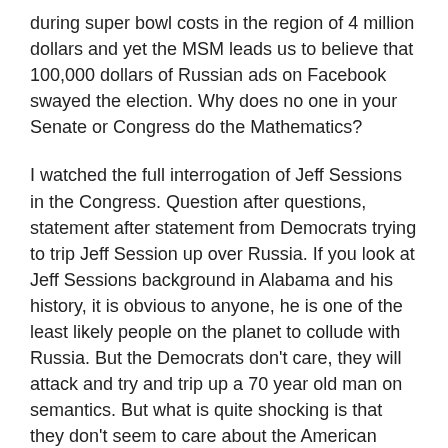during super bowl costs in the region of 4 million dollars and yet the MSM leads us to believe that 100,000 dollars of Russian ads on Facebook swayed the election. Why does no one in your Senate or Congress do the Mathematics?
I watched the full interrogation of Jeff Sessions in the Congress. Question after questions, statement after statement from Democrats trying to trip Jeff Session up over Russia. If you look at Jeff Sessions background in Alabama and his history, it is obvious to anyone, he is one of the least likely people on the planet to collude with Russia. But the Democrats don’t care, they will attack and try and trip up a 70 year old man on semantics. But what is quite shocking is that they don’t seem to care about the American people. They see that their job is to take down, one by one the representatives of the Trump administration. I suspect that in most Western democracies the opposition party would have shown some respect and gratitude for Jeff Sessions a 70 year old political veteran recusing himself over Russia, but in the USA the Democrats want blood, even if it means throwing the American people under a bus.